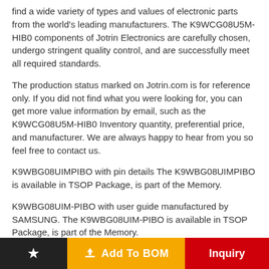find a wide variety of types and values of electronic parts from the world's leading manufacturers. The K9WCG08U5M-HIB0 components of Jotrin Electronics are carefully chosen, undergo stringent quality control, and are successfully meet all required standards.
The production status marked on Jotrin.com is for reference only. If you did not find what you were looking for, you can get more value information by email, such as the K9WCG08U5M-HIB0 Inventory quantity, preferential price, and manufacturer. We are always happy to hear from you so feel free to contact us.
K9WBG08UIMPIBO with pin details The K9WBG08UIMPIBO is available in TSOP Package, is part of the Memory.
K9WBG08UIM-PIBO with user guide manufactured by SAMSUNG. The K9WBG08UIM-PIBO is available in TSOP Package, is part of the Memory.
K9WBGZ8U5M-SCK0 with circuit diagram manufactured by SAMSUNG. The K9WBGZ8U5M-SCK0 is available in TOSOP
Add To BOM | Inquiry